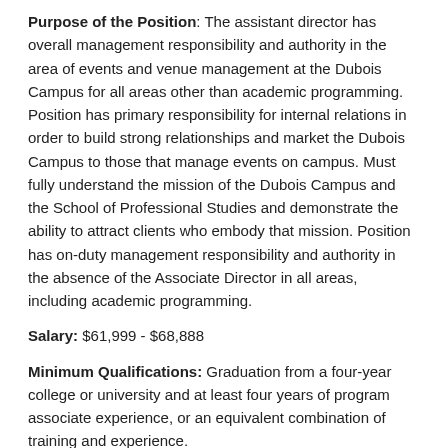Purpose of the Position: The assistant director has overall management responsibility and authority in the area of events and venue management at the Dubois Campus for all areas other than academic programming. Position has primary responsibility for internal relations in order to build strong relationships and market the Dubois Campus to those that manage events on campus. Must fully understand the mission of the Dubois Campus and the School of Professional Studies and demonstrate the ability to attract clients who embody that mission. Position has on-duty management responsibility and authority in the absence of the Associate Director in all areas, including academic programming.
Salary: $61,999 - $68,888
Minimum Qualifications: Graduation from a four-year college or university and at least four years of program associate experience, or an equivalent combination of training and experience.
Essential Job Duties: The assistant director has overall management responsibility and authority in the area of events